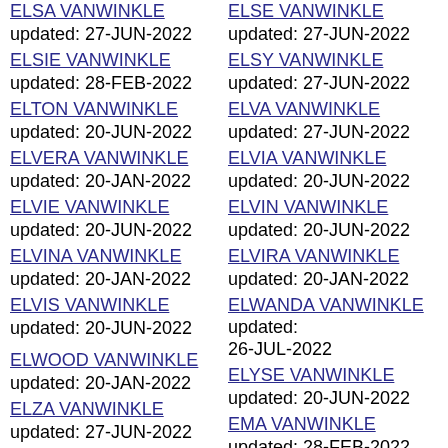ELSA VANWINKLE updated: 27-JUN-2022
ELSIE VANWINKLE updated: 28-FEB-2022
ELTON VANWINKLE updated: 20-JUN-2022
ELVERA VANWINKLE updated: 20-JAN-2022
ELVIE VANWINKLE updated: 20-JUN-2022
ELVINA VANWINKLE updated: 20-JAN-2022
ELVIS VANWINKLE updated: 20-JUN-2022
ELWOOD VANWINKLE updated: 20-JAN-2022
ELZA VANWINKLE updated: 27-JUN-2022
EMANUEL VANWINKLE updated: ...
ELSE VANWINKLE updated: 27-JUN-2022
ELSY VANWINKLE updated: 27-JUN-2022
ELVA VANWINKLE updated: 27-JUN-2022
ELVIA VANWINKLE updated: 20-JUN-2022
ELVIN VANWINKLE updated: 20-JUN-2022
ELVIRA VANWINKLE updated: 20-JAN-2022
ELWANDA VANWINKLE updated: 26-JUL-2022
ELYSE VANWINKLE updated: 20-JUN-2022
EMA VANWINKLE updated: 28-FEB-2022
EMELDA VANWINKLE